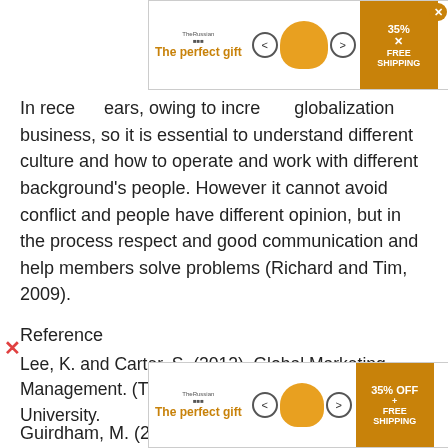In recent years, owing to increase globalization business, so it is essential to understand different culture and how to operate and work with different background's people. However it cannot avoid conflict and people have different opinion, but in the process respect and good communication and help members solve problems (Richard and Tim, 2009).
Reference
Lee, K. and Carter, S. (2012), Global Marketing Management. (Third Edition), Oxford: Oxford University.
Guirdham, M. (2005), communicating across cultures at work. (Second Edition), London: Palgrave Macmillan.
[Figure (other): Advertisement banner top: 'The perfect gift' with pot image and 35% FREE SHIPPING offer]
[Figure (other): Advertisement banner bottom: 'The perfect gift' with pot image and 35% OFF FREE SHIPPING offer]